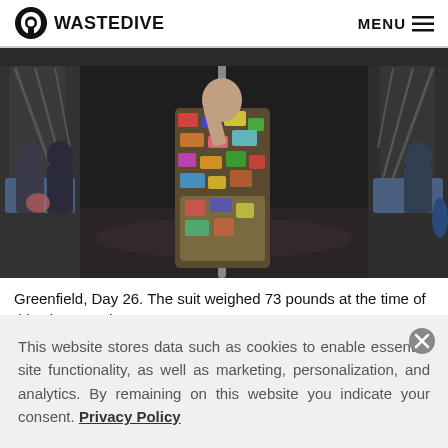WASTE DIVE   MENU
[Figure (photo): A person wearing a suit made entirely of collected trash/waste items stands in a New York City subway car, surrounded by other passengers. The suit appears bulky and colorful with various packaging materials.]
Greenfield, Day 26. The suit weighed 73 pounds at the time of this photograph
Gary Bencheghib
This website stores data such as cookies to enable essential site functionality, as well as marketing, personalization, and analytics. By remaining on this website you indicate your consent. Privacy Policy